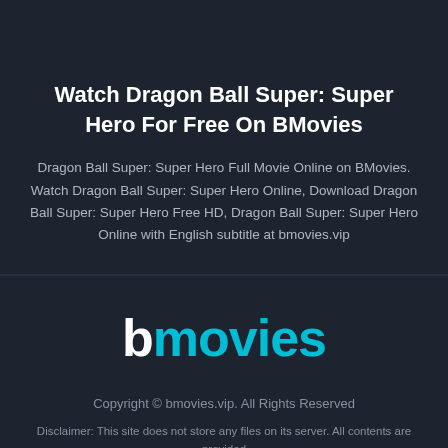Watch Dragon Ball Super: Super Hero For Free On BMovies
Dragon Ball Super: Super Hero Full Movie Online on BMovies. Watch Dragon Ball Super: Super Hero Online, Download Dragon Ball Super: Super Hero Free HD, Dragon Ball Super: Super Hero Online with English subtitle at bmovies.vip
[Figure (logo): bmovies logo with white 'b' and teal 'movies' text]
Copyright © bmovies.vip. All Rights Reserved
Disclaimer: This site does not store any files on its server. All contents are provided